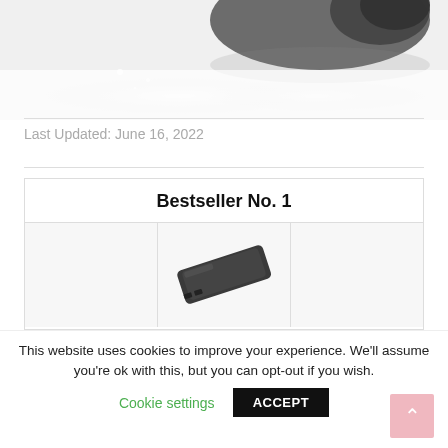[Figure (photo): Partial view of a product (camera or electronics) with white/grey gradient background, cropped at top]
Last Updated: June 16, 2022
Bestseller No. 1
[Figure (photo): Product image of a dark portable power bank/charger shown at an angle, displayed in a three-column card layout]
This website uses cookies to improve your experience. We'll assume you're ok with this, but you can opt-out if you wish.
Cookie settings  ACCEPT